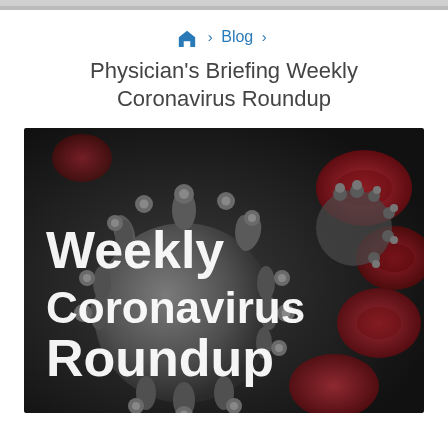🏠 > Blog >
Physician's Briefing Weekly Coronavirus Roundup
[Figure (photo): Close-up 3D rendered illustration of a coronavirus particle with spike proteins, surrounded by red blood cells in the background, with white bold text overlay reading 'Weekly Coronavirus Roundup']